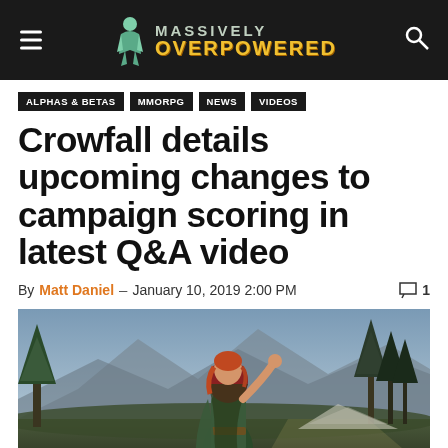Massively Overpowered
ALPHAS & BETAS
MMORPG
NEWS
VIDEOS
Crowfall details upcoming changes to campaign scoring in latest Q&A video
By Matt Daniel – January 10, 2019 2:00 PM  1
[Figure (photo): Screenshot from Crowfall game showing a female character with red hair in a hooded cloak, standing in a forest environment with mountains in the background]